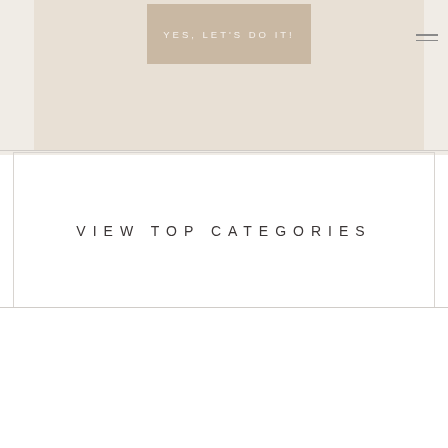[Figure (screenshot): Top section showing a tan/beige banner button with text 'YES, LET'S DO IT!' in light letters on a warm beige background, with a hamburger menu icon in the top right corner.]
VIEW TOP CATEGORIES